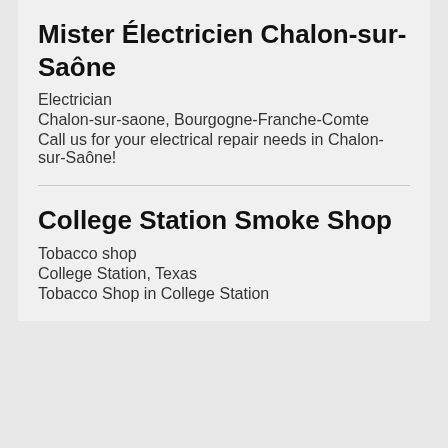Mister Électricien Chalon-sur-Saône
Electrician
Chalon-sur-saone, Bourgogne-Franche-Comte
Call us for your electrical repair needs in Chalon-sur-Saône!
College Station Smoke Shop
Tobacco shop
College Station, Texas
Tobacco Shop in College Station